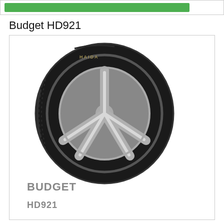[Figure (other): Green bar/button at the top of the page inside a white bordered banner]
Budget HD921
[Figure (photo): Photo of a Budget HD921 tire with a silver 5-spoke alloy wheel, shown at an angle. Below the tire image, the brand name BUDGET and model HD921 are shown in gray bold text.]